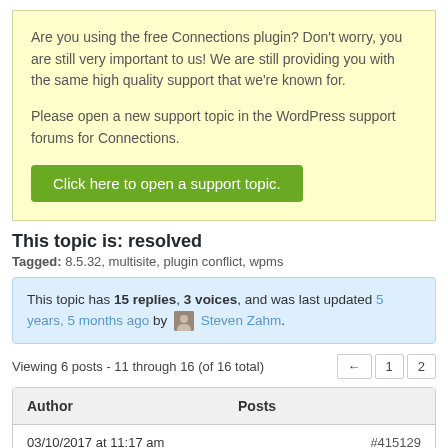Are you using the free Connections plugin? Don't worry, you are still very important to us! We are still providing you with the same high quality support that we're known for.

Please open a new support topic in the WordPress support forums for Connections.
Click here to open a support topic.
This topic is: resolved
Tagged: 8.5.32, multisite, plugin conflict, wpms
This topic has 15 replies, 3 voices, and was last updated 5 years, 5 months ago by Steven Zahm.
Viewing 6 posts - 11 through 16 (of 16 total)
| Author | Posts |
| --- | --- |
| 03/10/2017 at 11:17 am | #415129 |